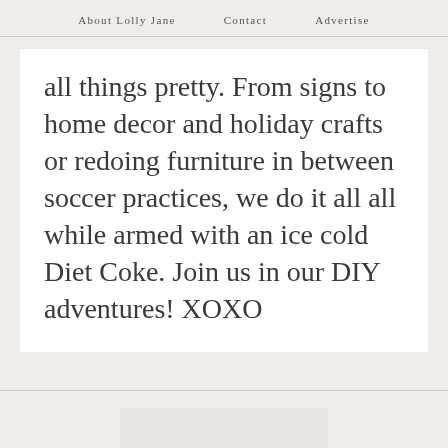About Lolly Jane   Contact   Advertise
all things pretty. From signs to home decor and holiday crafts or redoing furniture in between soccer practices, we do it all all while armed with an ice cold Diet Coke. Join us in our DIY adventures! XOXO